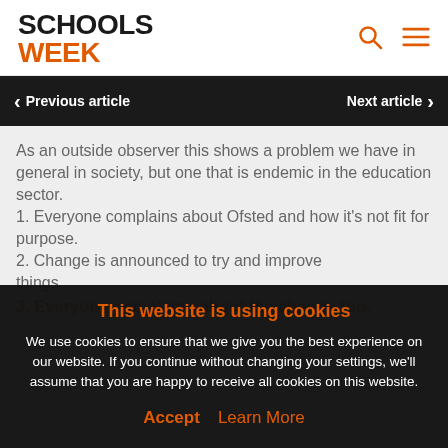SCHOOLS WEEK
Previous article   Next article
As an outside observer this shows a problem we have in general in society, but one that is endemic in the education sector.
1. Everyone complains about Ofsted and how it's not fit for purpose.
2. Change is announced to try and improve things.
3. Everyone complains about the change too.
This website is using cookies
We use cookies to ensure that we give you the best experience on our website. If you continue without changing your settings, we'll assume that you are happy to receive all cookies on this website.
Accept   Learn More